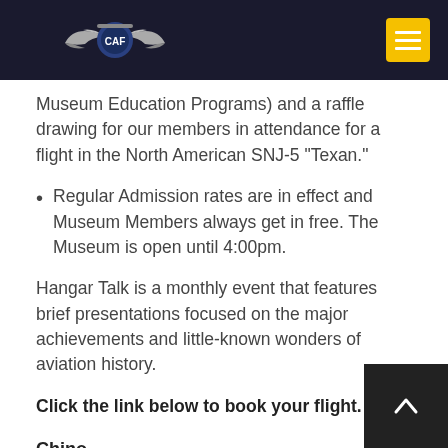CAF Museum — navigation header
Museum Education Programs) and a raffle drawing for our members in attendance for a flight in the North American SNJ-5 "Texan."
Regular Admission rates are in effect and Museum Members always get in free. The Museum is open until 4:00pm.
Hangar Talk is a monthly event that features brief presentations focused on the major achievements and little-known wonders of aviation history.
Click the link below to book your flight.
Chino
Chino, CA,